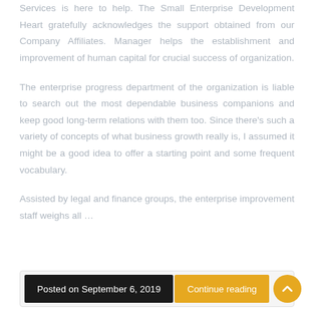Services is here to help. The Small Enterprise Development Heart gratefully acknowledges the support obtained from our Company Affiliates. Manager helps the establishment and improvement of human capital for crucial success of organization.
The enterprise progress department of the organization is liable to search out the most dependable business companions and keep good long-term relations with them too. Since there's such a variety of concepts of what business growth really is, I assumed it might be a good idea to offer a starting point and some frequent vocabulary.
Assisted by legal and finance groups, the enterprise improvement staff weighs all …
Posted on September 6, 2019 | Continue reading